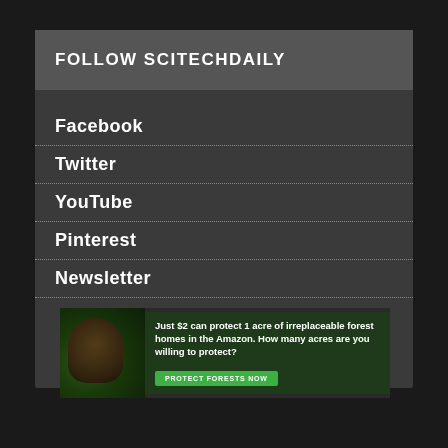FOLLOW SCITECHDAILY
Facebook
Twitter
YouTube
Pinterest
Newsletter
[Figure (infographic): Advertisement banner: 'Just $2 can protect 1 acre of irreplaceable forest homes in the Amazon. How many acres are you willing to protect?' with a green PROTECT FORESTS NOW button and a sloth image on a dark forest background.]